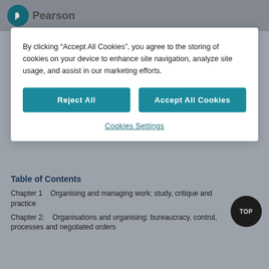Pearson
By clicking “Accept All Cookies”, you agree to the storing of cookies on your device to enhance site navigation, analyze site usage, and assist in our marketing efforts.
Reject All
Accept All Cookies
Cookies Settings
Table of Contents
Chapter 1    Organising and managing work: study, critique and practice
Chapter 2:    Organisations and organising: bureaucracy, control, processes and negotiated orders